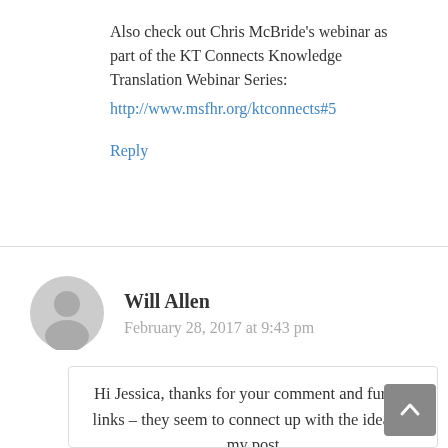Also check out Chris McBride's webinar as part of the KT Connects Knowledge Translation Webinar Series: http://www.msfhr.org/ktconnects#5
Reply
Will Allen
February 28, 2017 at 9:43 pm
Hi Jessica, thanks for your comment and further links – they seem to connect up with the ideas in my post